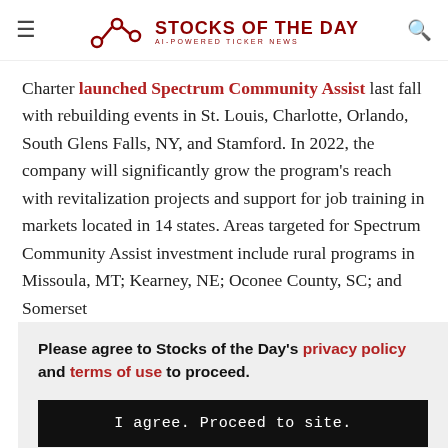STOCKS OF THE DAY — AI-POWERED TICKER NEWS
Charter launched Spectrum Community Assist last fall with rebuilding events in St. Louis, Charlotte, Orlando, South Glens Falls, NY, and Stamford. In 2022, the company will significantly grow the program's reach with revitalization projects and support for job training in markets located in 14 states. Areas targeted for Spectrum Community Assist investment include rural programs in Missoula, MT; Kearney, NE; Oconee County, SC; and Somerset
Please agree to Stocks of the Day's privacy policy and terms of use to proceed.
I agree. Proceed to site.
at local community centers provide, said Rhonda Crichlow, Senior